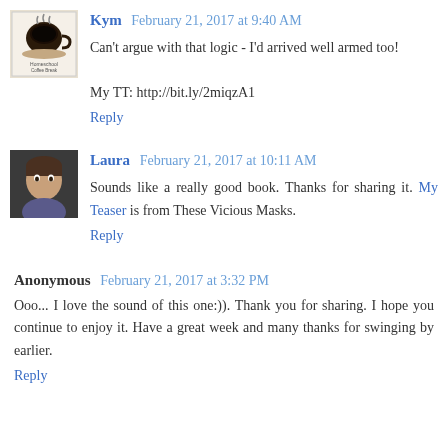Kym  February 21, 2017 at 9:40 AM
Can't argue with that logic - I'd arrived well armed too!

My TT: http://bit.ly/2miqzA1
Reply
Laura  February 21, 2017 at 10:11 AM
Sounds like a really good book. Thanks for sharing it. My Teaser is from These Vicious Masks.
Reply
Anonymous  February 21, 2017 at 3:32 PM
Ooo... I love the sound of this one:)). Thank you for sharing. I hope you continue to enjoy it. Have a great week and many thanks for swinging by earlier.
Reply